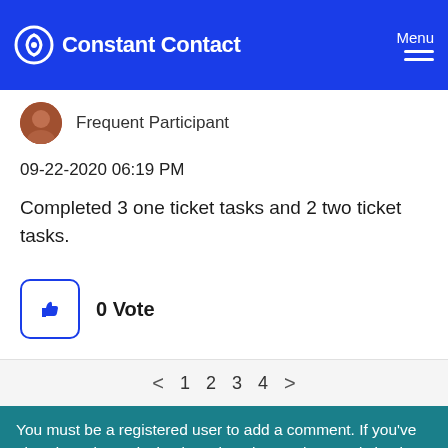Constant Contact  Menu
Frequent Participant
09-22-2020 06:19 PM
Completed 3 one ticket tasks and 2 two ticket tasks.
0 Vote
< 1 2 3 4 >
You must be a registered user to add a comment. If you've already registered, sign in. Otherwise, register and sign in.